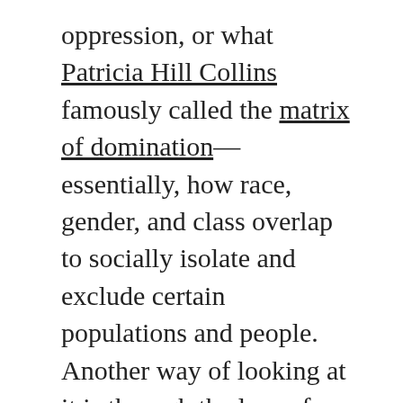oppression, or what Patricia Hill Collins famously called the matrix of domination—essentially, how race, gender, and class overlap to socially isolate and exclude certain populations and people. Another way of looking at it is through the lens of identity—how your race, life experiences, where you grew up, how old you are, where your parents are from, who you are attracted to, what you do for work, etc., are tangled together in a web that informs who you are and how other people perceive you. Scholar and civil rights activist Kimberlé Crenshaw calls this